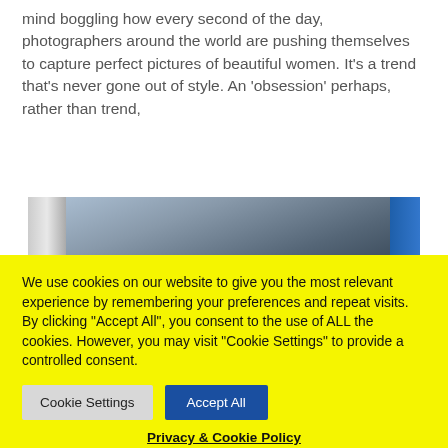mind boggling how every second of the day, photographers around the world are pushing themselves to capture perfect pictures of beautiful women. It's a trend that's never gone out of style. An 'obsession' perhaps, rather than trend,
[Figure (photo): Partial photo showing metallic/silver vertical surface on the left and a blue element on the right, appears to be an indoor or equipment photo.]
We use cookies on our website to give you the most relevant experience by remembering your preferences and repeat visits. By clicking "Accept All", you consent to the use of ALL the cookies. However, you may visit "Cookie Settings" to provide a controlled consent.
Cookie Settings | Accept All
Privacy & Cookie Policy